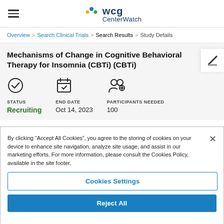WCG CenterWatch
Overview > Search Clinical Trials > Search Results > Study Details
Mechanisms of Change in Cognitive Behavioral Therapy for Insomnia (CBTi) (CBTi)
STATUS
Recruiting
END DATE
Oct 14, 2023
PARTICIPANTS NEEDED
100
By clicking “Accept All Cookies”, you agree to the storing of cookies on your device to enhance site navigation, analyze site usage, and assist in our marketing efforts. For more information, please consult the Cookies Policy, available in the site footer.
Cookies Settings
Reject All